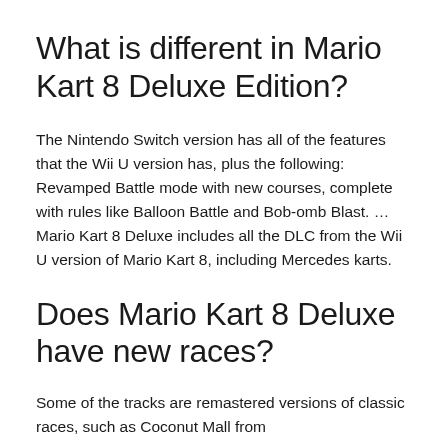What is different in Mario Kart 8 Deluxe Edition?
The Nintendo Switch version has all of the features that the Wii U version has, plus the following: Revamped Battle mode with new courses, complete with rules like Balloon Battle and Bob-omb Blast. … Mario Kart 8 Deluxe includes all the DLC from the Wii U version of Mario Kart 8, including Mercedes karts.
Does Mario Kart 8 Deluxe have new races?
Some of the tracks are remastered versions of classic races, such as Coconut Mall from